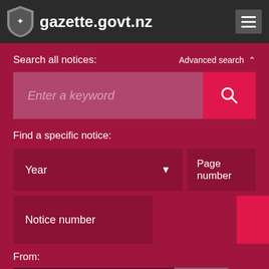gazette.govt.nz
Search all notices:
Advanced search
Enter a keyword
Find a specific notice:
Year
Page number
Notice number
Find
From:
dd-mm-yyyy